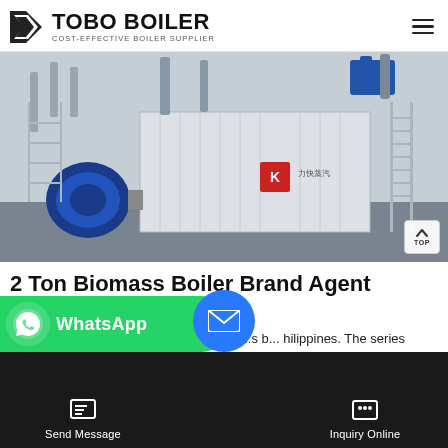TOBO BOILER — COST-EFFECTIVE BOILER SUPPLIER
[Figure (photo): Industrial biomass boiler installation in a factory setting, showing a large white rectangular boiler unit with Chinese text and a red logo on its side, blue burner mechanism on the left, piping and equipment above, and metal staircases on the right.]
2 Ton Biomass Boiler Brand Agent Georgia
...powered Condensing Boiler Lithuania ...s b... hilippines. The series boiler is ...e o... tea... ...Chin...
Send Message   Inquiry Online